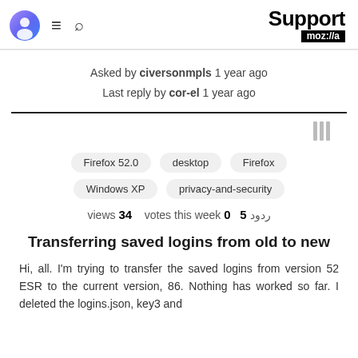Support moz://a
Asked by civersonmpls 1 year ago
Last reply by cor-el 1 year ago
[Figure (other): Library/bookmark icon in gray]
Firefox 52.0
desktop
Firefox
Windows XP
privacy-and-security
views 34   votes this week 0   ردود 5
Transferring saved logins from old to new
Hi, all. I'm trying to transfer the saved logins from version 52 ESR to the current version, 86. Nothing has worked so far. I deleted the logins.json, key3 and